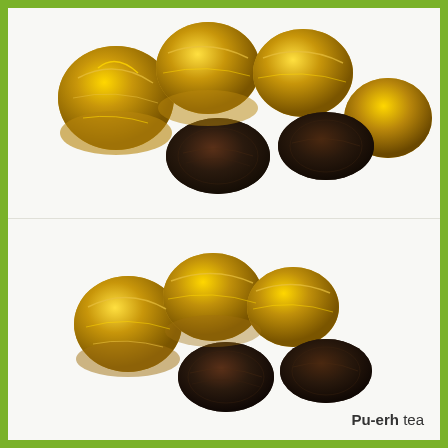[Figure (photo): Group of gold foil-wrapped Pu-erh tea balls mixed with dark brown unwrapped Pu-erh tea cakes on white background, top image]
[Figure (photo): Group of gold foil-wrapped Pu-erh tea balls mixed with dark brown unwrapped Pu-erh tea cakes on white background, bottom image]
Pu-erh tea